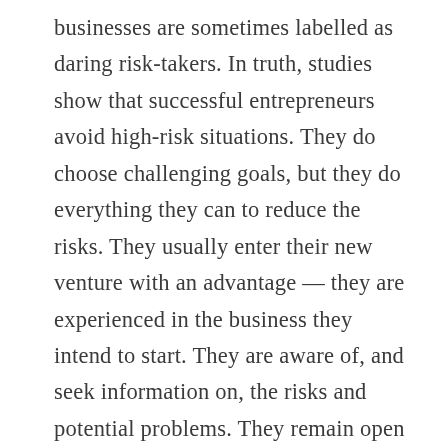businesses are sometimes labelled as daring risk-takers. In truth, studies show that successful entrepreneurs avoid high-risk situations. They do choose challenging goals, but they do everything they can to reduce the risks. They usually enter their new venture with an advantage — they are experienced in the business they intend to start. They are aware of, and seek information on, the risks and potential problems. They remain open to feedback, both positive and negative. They have confidence in themselves and in their ability to make their new ventures work somehow, even if things don't happen as they hope. They work to minimise risk within the confines of their basic